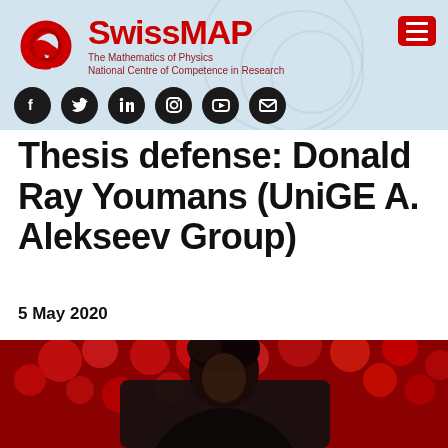SwissMAP – The Mathematics of Physics – National Centre of Competence in Research
Thesis defense: Donald Ray Youmans (UniGE A. Alekseev Group)
5 May 2020
[Figure (photo): Portrait photo of Donald Ray Youmans against a red floral background]